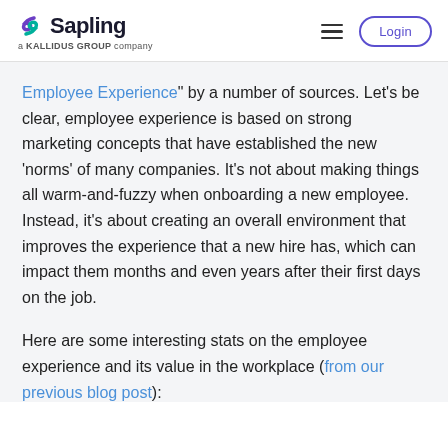Sapling — a KALLIDUS GROUP company | Login
Employee Experience" by a number of sources. Let's be clear, employee experience is based on strong marketing concepts that have established the new 'norms' of many companies. It's not about making things all warm-and-fuzzy when onboarding a new employee. Instead, it's about creating an overall environment that improves the experience that a new hire has, which can impact them months and even years after their first days on the job.
Here are some interesting stats on the employee experience and its value in the workplace (from our previous blog post):